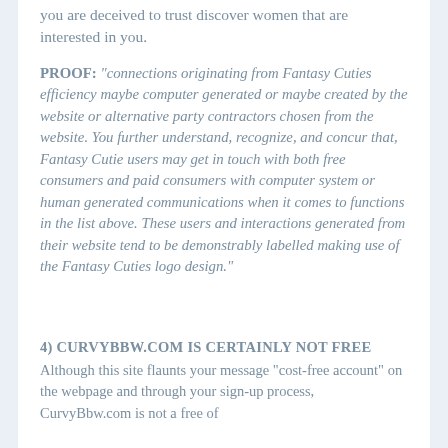you are deceived to trust discover women that are interested in you.
PROOF: “connections originating from Fantasy Cuties efficiency maybe computer generated or maybe created by the website or alternative party contractors chosen from the website. You further understand, recognize, and concur that, Fantasy Cutie users may get in touch with both free consumers and paid consumers with computer system or human generated communications when it comes to functions in the list above. These users and interactions generated from their website tend to be demonstrably labelled making use of the Fantasy Cuties logo design.”
4) CURVYBBW.COM IS CERTAINLY NOT FREE
Although this site flaunts your message “cost-free account” on the webpage and through your sign-up process, CurvyBbw.com is not a free of